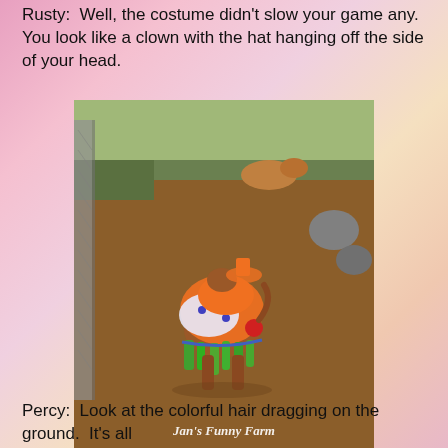Rusty:  Well, the costume didn't slow your game any.  You look like a clown with the hat hanging off the side of your head.
[Figure (photo): A dog wearing a colorful clown costume with orange fabric, white polka-dot ruffles, green fringe, and red accents, walking away in a dirt yard with chain-link fencing. Another dog is visible in the background. Watermark reads 'Jan's Funny Farm'.]
Percy:  Look at the colorful hair dragging on the ground.  It's all